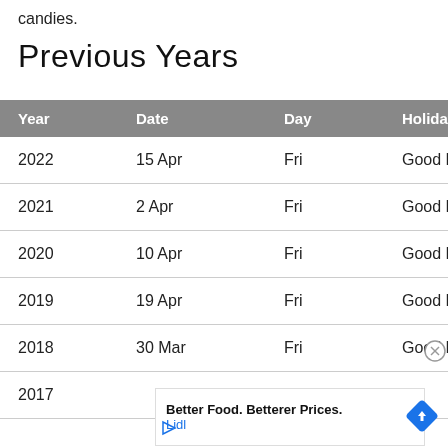candies.
Previous Years
| Year | Date | Day | Holiday |
| --- | --- | --- | --- |
| 2022 | 15 Apr | Fri | Good Friday |
| 2021 | 2 Apr | Fri | Good Friday |
| 2020 | 10 Apr | Fri | Good Friday |
| 2019 | 19 Apr | Fri | Good Friday |
| 2018 | 30 Mar | Fri | Good Friday |
| 2017 |  |  |  |
[Figure (other): Advertisement banner: 'Better Food. Betterer Prices. Lidl' with a blue diamond navigation icon and a play button.]